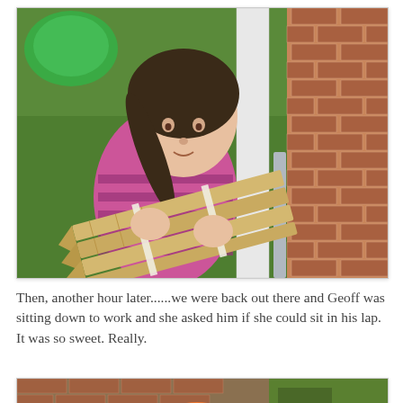[Figure (photo): A young girl with a ponytail wearing a pink and purple striped long-sleeve shirt, carrying a bundle of wooden garden stakes outdoors on grass, with a brick wall and white pillar in the background and a green toy visible at top left.]
Then, another hour later......we were back out there and Geoff was sitting down to work and she asked him if she could sit in his lap. It was so sweet. Really.
[Figure (photo): Partial view of a second outdoor photograph, showing brick wall and orange object at bottom of page, cropped.]